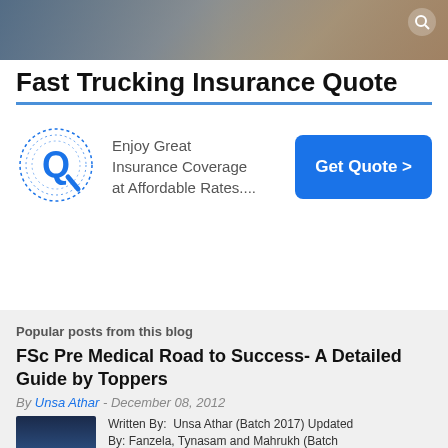[Figure (photo): Hero banner image showing truckers or truck-related scene with dark overlay and search icon]
Fast Trucking Insurance Quote
[Figure (logo): Blue Q logo with dotted circle design representing insurance company brand]
Enjoy Great Insurance Coverage at Affordable Rates....
Get Quote >
Popular posts from this blog
FSc Pre Medical Road to Success- A Detailed Guide by Toppers
By Unsa Athar - December 08, 2012
[Figure (photo): Small thumbnail image with dark blue gradient background]
Written By: Unsa Athar (Batch 2017) Updated By: Fanzela, Tynasam and Mahrukh (Batch